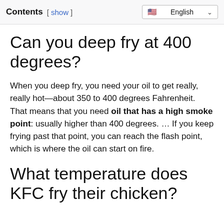Contents [ show ]   English
Can you deep fry at 400 degrees?
When you deep fry, you need your oil to get really, really hot—about 350 to 400 degrees Fahrenheit. That means that you need oil that has a high smoke point: usually higher than 400 degrees. … If you keep frying past that point, you can reach the flash point, which is where the oil can start on fire.
What temperature does KFC fry their chicken?